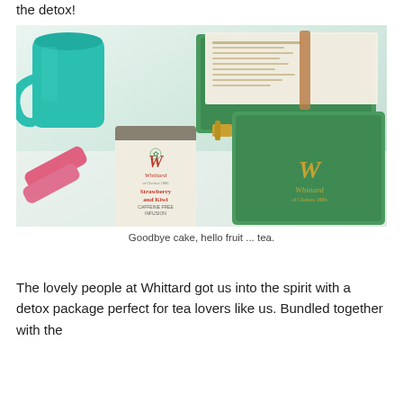the detox!
[Figure (photo): Whittard Strawberry and Kiwi caffeine free infusion tea packet beside a teal mug, pink dumbbells, and a green Whittard tin with papers inside, arranged on a white surface.]
Goodbye cake, hello fruit ... tea.
The lovely people at Whittard got us into the spirit with a detox package perfect for tea lovers like us. Bundled together with the